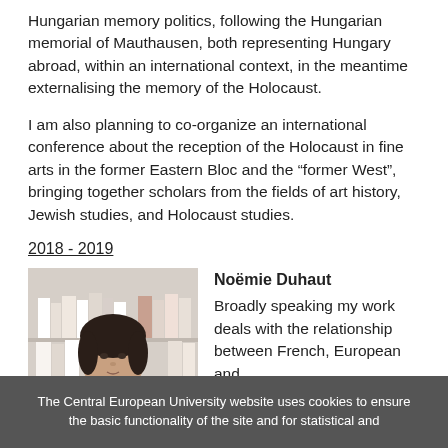Hungarian memory politics, following the Hungarian memorial of Mauthausen, both representing Hungary abroad, within an international context, in the meantime externalising the memory of the Holocaust.
I am also planning to co-organize an international conference about the reception of the Holocaust in fine arts in the former Eastern Bloc and the “former West”, bringing together scholars from the fields of art history, Jewish studies, and Holocaust studies.
2018 - 2019
[Figure (photo): Portrait photo of Noëmie Duhaut, a young woman with dark shoulder-length hair, in front of a bookshelf]
Noëmie Duhaut
Broadly speaking my work deals with the relationship between French, European and
The Central European University website uses cookies to ensure the basic functionality of the site and for statistical and